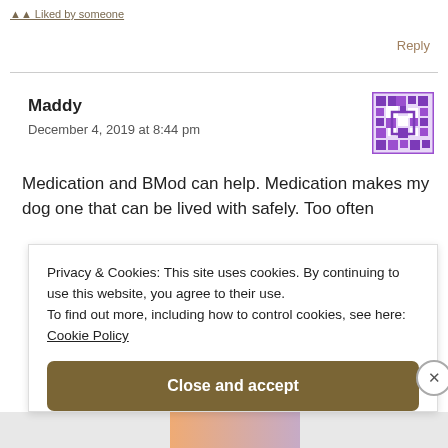Liked by someone
Reply
Maddy
December 4, 2019 at 8:44 pm
Medication and BMod can help. Medication makes my dog one that can be lived with safely. Too often
Privacy & Cookies: This site uses cookies. By continuing to use this website, you agree to their use.
To find out more, including how to control cookies, see here:
Cookie Policy
Close and accept